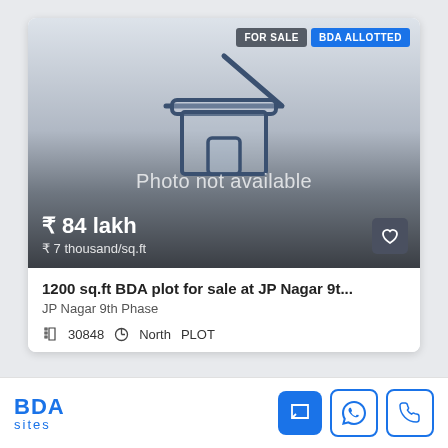[Figure (illustration): Property listing card showing 'Photo not available' placeholder with a house outline icon, price ₹84 lakh, ₹7 thousand/sq.ft, badges FOR SALE and BDA ALLOTTED]
FOR SALE
BDA ALLOTTED
Photo not available
₹ 84 lakh
₹ 7 thousand/sq.ft
1200 sq.ft BDA plot for sale at JP Nagar 9t...
JP Nagar 9th Phase
30848   North   PLOT
[Figure (logo): BDA sites logo in blue]
BDA sites